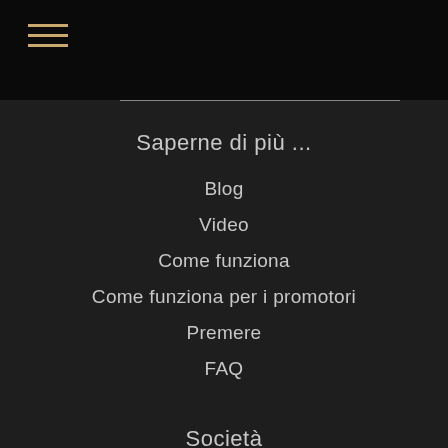≡
Saperne di più ...
Blog
Video
Come funziona
Come funziona per i promotori
Premere
FAQ
Società
Chi siamo